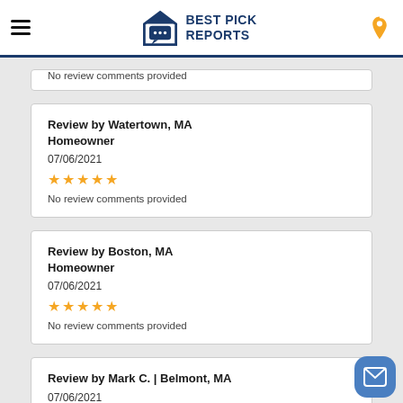Best Pick Reports
No review comments provided
Review by Watertown, MA Homeowner
07/06/2021
★★★★★
No review comments provided
Review by Boston, MA Homeowner
07/06/2021
★★★★★
No review comments provided
Review by Mark C. | Belmont, MA
07/06/2021
★★★★★